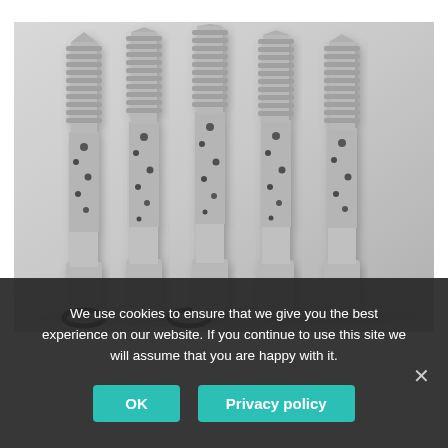[Figure (photo): Five orthopedic bone screws with porous titanium body sections and threaded tops, standing upright against a light gray background. The screws have visible lattice/porous mid-sections and two black O-rings are placed at the base in front of the two leftmost screws.]
We use cookies to ensure that we give you the best experience on our website. If you continue to use this site we will assume that you are happy with it.